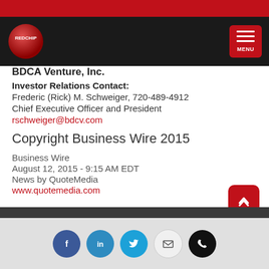RedChip - BDCA Venture, Inc. Investor Relations Contact
BDCA Venture, Inc.
Investor Relations Contact: Frederic (Rick) M. Schweiger, 720-489-4912 Chief Executive Officer and President rschweiger@bdcv.com
Copyright Business Wire 2015
Business Wire
August 12, 2015 - 9:15 AM EDT
News by QuoteMedia
www.quotemedia.com